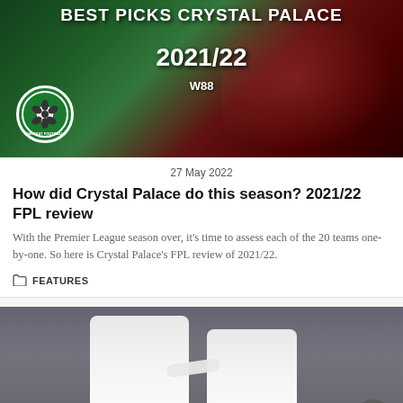[Figure (photo): Crystal Palace FPL best picks 2021/22 header image with player running and Fantasy Football Community logo badge]
27 May 2022
How did Crystal Palace do this season? 2021/22 FPL review
With the Premier League season over, it's time to assess each of the 20 teams one-by-one. So here is Crystal Palace's FPL review of 2021/22.
FEATURES
[Figure (photo): Two Tottenham players from behind, KANE 10 and SON 7 jerseys visible, with arm around each other in celebration]